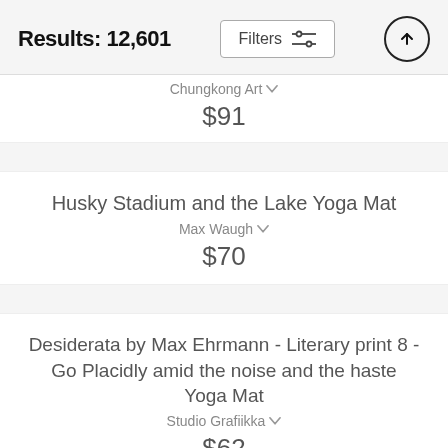Results: 12,601
Chungkong Art
$91
Husky Stadium and the Lake Yoga Mat
Max Waugh
$70
Desiderata by Max Ehrmann - Literary print 8 - Go Placidly amid the noise and the haste Yoga Mat
Studio Grafiikka
$62